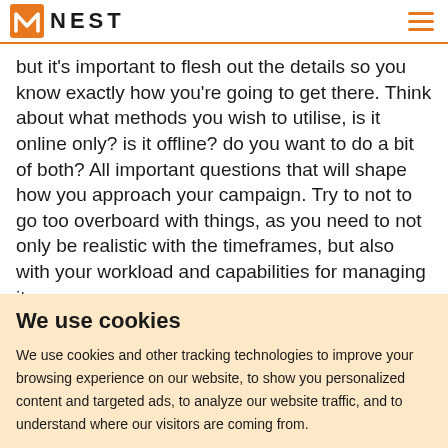NEST
but it's important to flesh out the details so you know exactly how you're going to get there. Think about what methods you wish to utilise, is it online only? is it offline? do you want to do a bit of both? All important questions that will shape how you approach your campaign. Try to not to go too overboard with things, as you need to not only be realistic with the timeframes, but also with your workload and capabilities for managing it.
We use cookies
We use cookies and other tracking technologies to improve your browsing experience on our website, to show you personalized content and targeted ads, to analyze our website traffic, and to understand where our visitors are coming from.